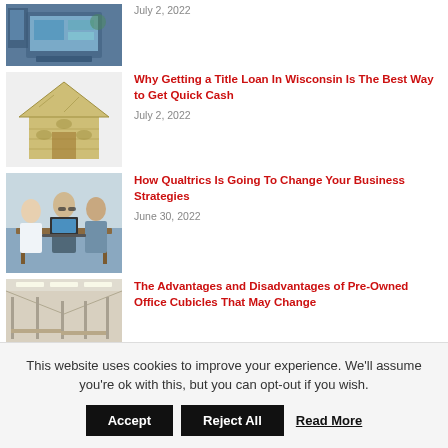[Figure (photo): Person working at a computer monitor]
July 2, 2022
Why Getting a Title Loan In Wisconsin Is The Best Way to Get Quick Cash
[Figure (illustration): House made of dollar bills / money house illustration]
July 2, 2022
How Qualtrics Is Going To Change Your Business Strategies
[Figure (photo): Business people meeting around a table with a laptop]
June 30, 2022
The Advantages and Disadvantages of Pre-Owned Office Cubicles That May Change Your Mind
[Figure (photo): Office space with cubicles and ceiling lights]
This website uses cookies to improve your experience. We'll assume you're ok with this, but you can opt-out if you wish.